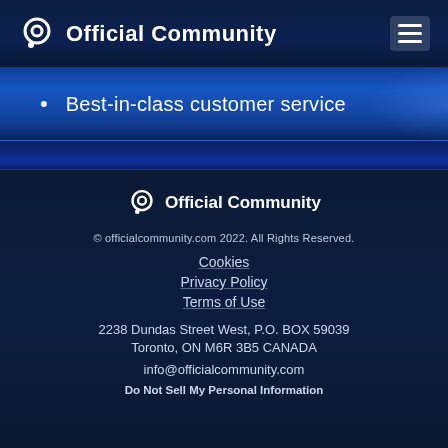Official Community
Best-in-class customer service
[Figure (logo): Official Community logo with circular icon and bold text]
© officialcommunity.com 2022. All Rights Reserved.
Cookies
Privacy Policy
Terms of Use
2238 Dundas Street West, P.O. BOX 59039
Toronto, ON M6R 3B5 CANADA
info@officialcommunity.com
Do Not Sell My Personal Information